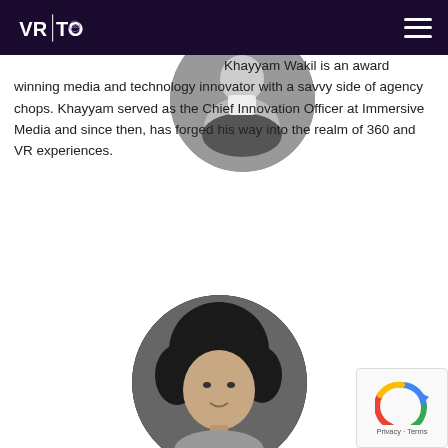VRTO 2022
[Figure (photo): Black and white circular cropped photo of a person (Khayyam Wakil) in a professional setting]
Khayyam Wakil is an award winning media and technology innovator with a savvy side of agency chops. Khayyam served as the Chief Innovation Officer at Immersive Media and since then, has forged his way into the realm of 360 and VR experiences.
[Figure (photo): Black and white circular cropped portrait photo of a woman with curly hair (Rose Troche)]
Rose Troche | President